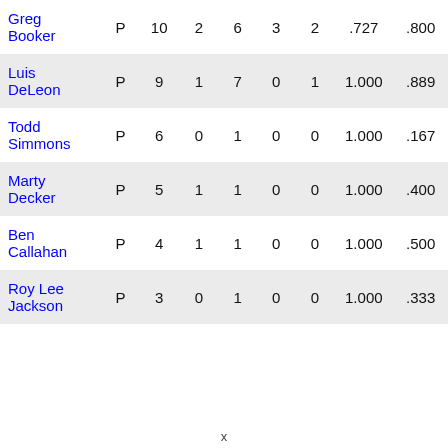| Name | Pos |  |  |  |  |  |  |  |
| --- | --- | --- | --- | --- | --- | --- | --- | --- |
| Greg Booker | P | 10 | 2 | 6 | 3 | 2 | .727 | .800 |
| Luis DeLeon | P | 9 | 1 | 7 | 0 | 1 | 1.000 | .889 |
| Todd Simmons | P | 6 | 0 | 1 | 0 | 0 | 1.000 | .167 |
| Marty Decker | P | 5 | 1 | 1 | 0 | 0 | 1.000 | .400 |
| Ben Callahan | P | 4 | 1 | 1 | 0 | 0 | 1.000 | .500 |
| Roy Lee Jackson | P | 3 | 0 | 1 | 0 | 0 | 1.000 | .333 |
x